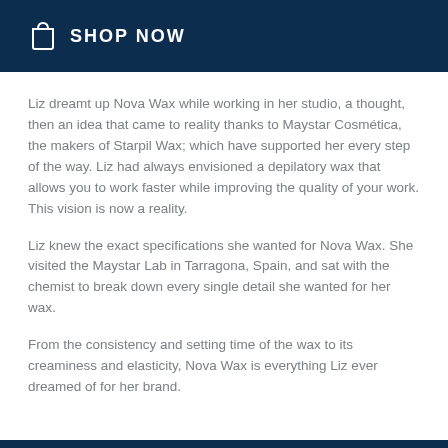SHOP NOW
Liz dreamt up Nova Wax while working in her studio, a thought, then an idea that came to reality thanks to Maystar Cosmética, the makers of Starpil Wax; which have supported her every step of the way. Liz had always envisioned a depilatory wax that allows you to work faster while improving the quality of your work. This vision is now a reality.
Liz knew the exact specifications she wanted for Nova Wax. She visited the Maystar Lab in Tarragona, Spain, and sat with the chemist to break down every single detail she wanted for her wax.
From the consistency and setting time of the wax to its creaminess and elasticity, Nova Wax is everything Liz ever dreamed of for her brand.